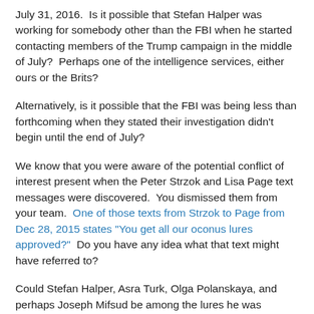July 31, 2016.  Is it possible that Stefan Halper was working for somebody other than the FBI when he started contacting members of the Trump campaign in the middle of July?  Perhaps one of the intelligence services, either ours or the Brits?
Alternatively, is it possible that the FBI was being less than forthcoming when they stated their investigation didn't begin until the end of July?
We know that you were aware of the potential conflict of interest present when the Peter Strzok and Lisa Page text messages were discovered.  You dismissed them from your team.  One of those texts from Strzok to Page from Dec 28, 2015 states "You get all our oconus lures approved?"  Do you have any idea what that text might have referred to?
Could Stefan Halper, Asra Turk, Olga Polanskaya, and perhaps Joseph Mifsud be among the lures he was referring to?
How about Alexander Downer or Arvinder Sambei?